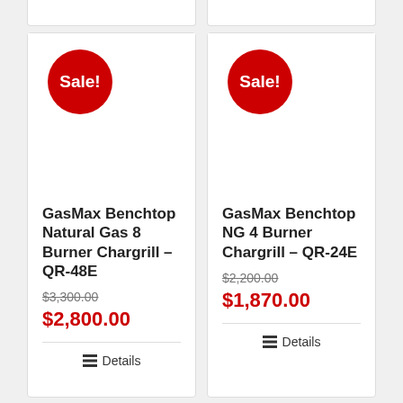[Figure (other): Partial tops of two product cards visible at very top of page]
Sale!
GasMax Benchtop Natural Gas 8 Burner Chargrill – QR-48E
$3,300.00
$2,800.00
Details
Sale!
GasMax Benchtop NG 4 Burner Chargrill – QR-24E
$2,200.00
$1,870.00
Details